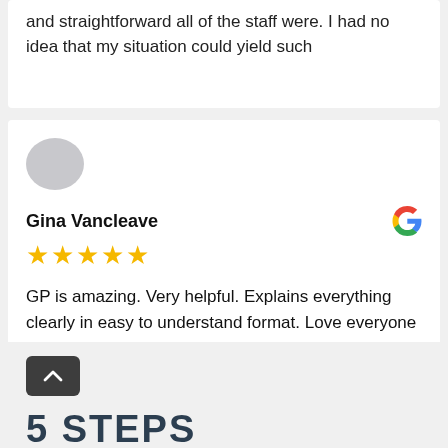and straightforward all of the staff were. I had no idea that my situation could yield such
Gina Vancleave
★★★★★
GP is amazing. Very helpful. Explains everything clearly in easy to understand format. Love everyone I have dealt with in this office.
5 STEPS